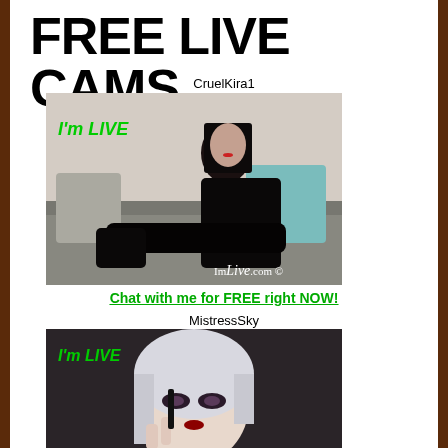FREE LIVE CAMS
CruelKira1
[Figure (photo): Webcam screenshot of CruelKira1 sitting on a sofa wearing black outfit and boots with 'I'm LIVE' green text overlay and ImLive.com watermark]
Chat with me for FREE right NOW!
MistressSky
[Figure (photo): Webcam screenshot of MistressSky with silver/white hair and gothic makeup with 'I'm LIVE' green text overlay]